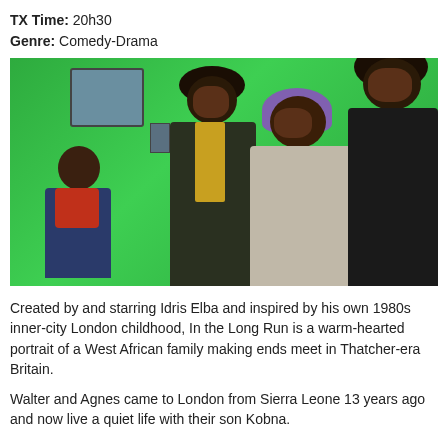TX Time: 20h30
Genre: Comedy-Drama
[Figure (photo): Four people standing in front of a green van: a child in a blue and red jacket with his back turned, a young man in a dark jacket with a yellow scarf and afro, an older woman in a grey coat with a purple headwrap, and a tall smiling man in a black leather jacket with an afro.]
Created by and starring Idris Elba and inspired by his own 1980s inner-city London childhood, In the Long Run is a warm-hearted portrait of a West African family making ends meet in Thatcher-era Britain.
Walter and Agnes came to London from Sierra Leone 13 years ago and now live a quiet life with their son Kobna.